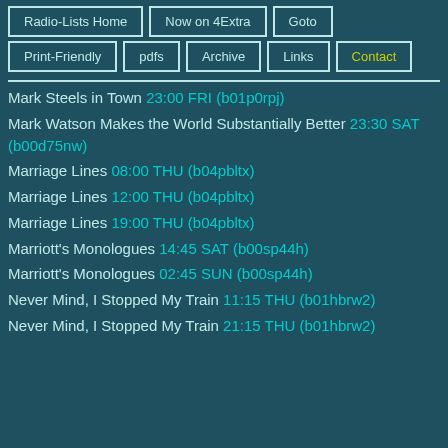Radio-Lists Home | Now on 4Extra | Goto | Print-Friendly | pdfs | Archive | Links | Contact
Mark Steels in Town 23:00 FRI (b01p0rpj)
Mark Watson Makes the World Substantially Better 23:30 SAT (b00d75nw)
Marriage Lines 08:00 THU (b04pbltx)
Marriage Lines 12:00 THU (b04pbltx)
Marriage Lines 19:00 THU (b04pbltx)
Marriott's Monologues 14:45 SAT (b00sp44h)
Marriott's Monologues 02:45 SUN (b00sp44h)
Never Mind, I Stopped My Train 11:15 THU (b01hbrw2)
Never Mind, I Stopped My Train 21:15 THU (b01hbrw2)